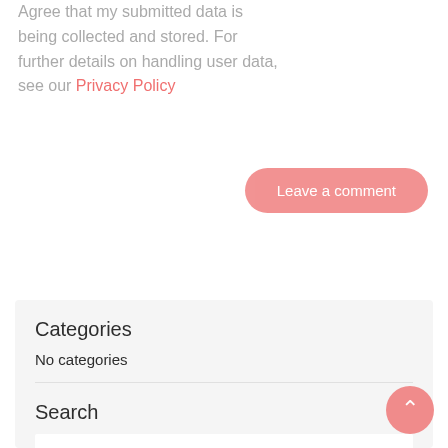Agree that my submitted data is being collected and stored. For further details on handling user data, see our Privacy Policy
Leave a comment
Categories
No categories
Search
Search ...
Recent Posts
We. Very That is One among My